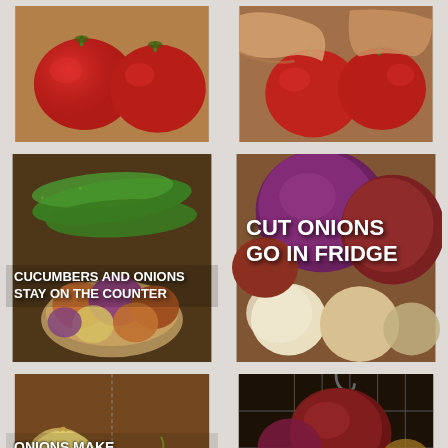[Figure (photo): Two red tomatoes on a wooden surface, top left panel]
[Figure (photo): Hands holding red tomatoes, top right panel]
[Figure (photo): Cucumbers and onions in a bowl on a counter, middle left panel with text: CUCUMBERS AND ONIONS STAY ON THE COUNTER]
[Figure (photo): Red and white onions on a wooden surface, middle right panel with text: CUT ONIONS GO IN FRIDGE]
[Figure (photo): Onion and potatoes with separation line, bottom left panel with text: ONIONS MAKE POTATOES SPROUT SO SEPARATE]
[Figure (photo): Onions and potatoes in a wire basket, bottom right panel]